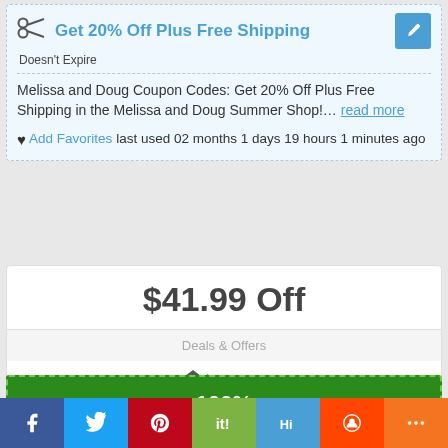Get 20% Off Plus Free Shipping
Doesn't Expire
Melissa and Doug Coupon Codes: Get 20% Off Plus Free Shipping in the Melissa and Doug Summer Shop!… read more
♥ Add Favorites last used 02 months 1 days 19 hours 1 minutes ago
$41.99 Off
Deals & Offers
🏛 Lego.com
100% WORKS